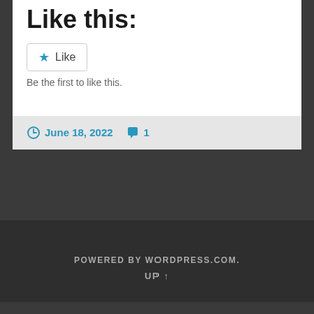Like this:
Be the first to like this.
June 18, 2022  1
POWERED BY WORDPRESS.COM.
UP ↑